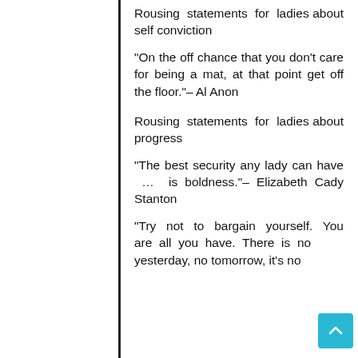Rousing statements for ladies about self conviction
“On the off chance that you don’t care for being a mat, at that point get off the floor.”– Al Anon
Rousing statements for ladies about progress
“The best security any lady can have … is boldness.”– Elizabeth Cady Stanton
“Try not to bargain yourself. You are all you have. There is no yesterday, no tomorrow, it’s no